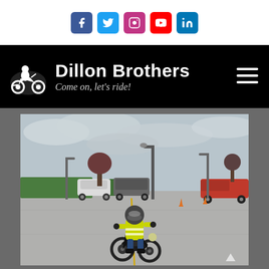[Figure (other): Social media icon buttons: Facebook (blue), Twitter (light blue), Instagram (purple/pink), YouTube (red), LinkedIn (blue)]
[Figure (logo): Dillon Brothers motorcycle dealership logo with motorcyclist silhouette graphic, bold white text 'Dillon Brothers' and italic tagline 'Come on, let's ride!' on black background with hamburger menu icon]
[Figure (photo): Person in bright yellow/green high-visibility jacket and helmet riding a dark motorcycle in a large empty parking lot. Overcast sky, vehicles parked in background, orange traffic cones visible on the right side of the lot.]